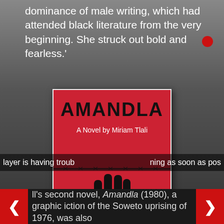dominance of male writing, which had attended black literature from the very beginning. She struck out bold and fearless.'
[Figure (photo): Book cover of 'AMANDLA: A Novel by Miriam Tlali' — red background with a black raised fist breaking through barbed wire. Bold black text at top reads AMANDLA, white text below reads 'A Novel by Miriam Tlali'.]
layer is having trouble ning as soon as possible
ll's second novel, Amandla (1980), a graphic iction of the Soweto uprising of 1976, was also